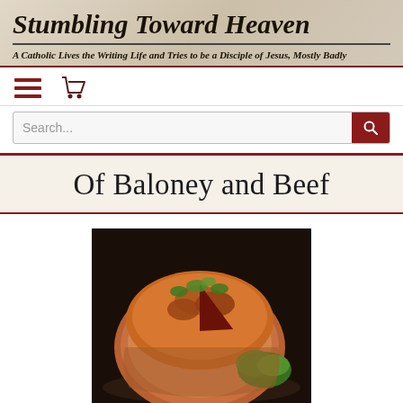Stumbling Toward Heaven
A Catholic Lives the Writing Life and Tries to be a Disciple of Jesus, Mostly Badly
[Figure (screenshot): Navigation bar with hamburger menu icon and shopping cart icon]
[Figure (screenshot): Search bar with placeholder text 'Search...' and a dark red search button with magnifying glass icon]
Of Baloney and Beef
[Figure (photo): A large roasted piece of beef or bologna, with a golden-brown crust, garnished with green parsley/kale, with a slice cut out, on a dark plate]